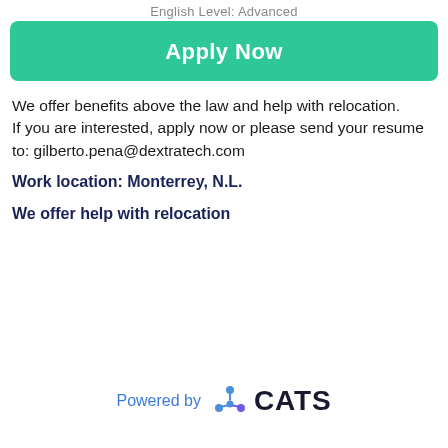English Level: Advanced
[Figure (other): Apply Now button — green rounded rectangle with white bold text]
We offer benefits above the law and help with relocation.
If you are interested, apply now or please send your resume to: gilberto.pena@dextratech.com
Work location: Monterrey, N.L.
We offer help with relocation
[Figure (logo): Powered by CATS logo — blue text 'Powered by' followed by CATS logo icon and bold 'CATS' text]